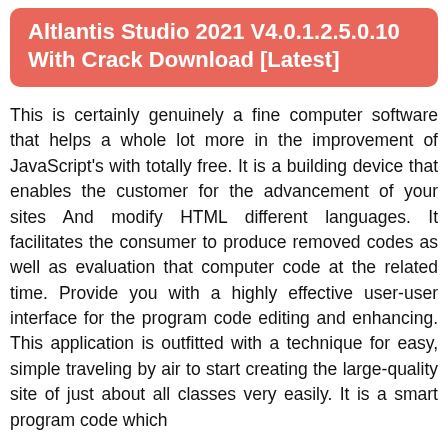Altlantis Studio 2021 V4.0.1.2.5.0.10 With Crack Download [Latest]
This is certainly genuinely a fine computer software that helps a whole lot more in the improvement of JavaScript's with totally free. It is a building device that enables the customer for the advancement of your sites And modify HTML different languages. It facilitates the consumer to produce removed codes as well as evaluation that computer code at the related time. Provide you with a highly effective user-user interface for the program code editing and enhancing. This application is outfitted with a technique for easy, simple traveling by air to start creating the large-quality site of just about all classes very easily. It is a smart program code which